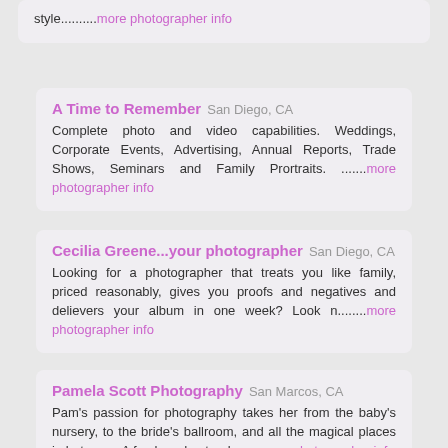style.........more photographer info
A Time to Remember  San Diego, CA
Complete photo and video capabilities. Weddings, Corporate Events, Advertising, Annual Reports, Trade Shows, Seminars and Family Prortraits. .......more photographer info
Cecilia Greene...your photographer  San Diego, CA
Looking for a photographer that treats you like family, priced reasonably, gives you proofs and negatives and delievers your album in one week? Look n........more photographer info
Pamela Scott Photography  San Marcos, CA
Pam's passion for photography takes her from the baby's nursery, to the bride's ballroom, and all the magical places in between. A fresh and natural .......more photographer info
Syren Franco Photography  Jamul, CA